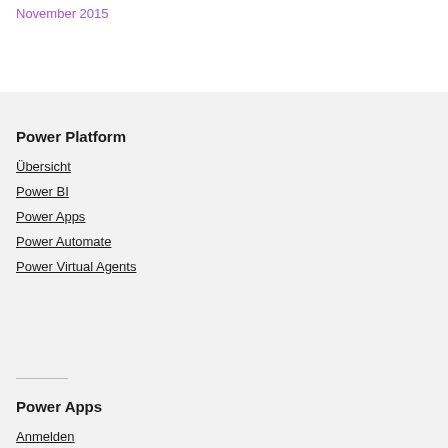November 2015
Power Platform
Übersicht
Power BI
Power Apps
Power Automate
Power Virtual Agents
Power Apps
Anmelden